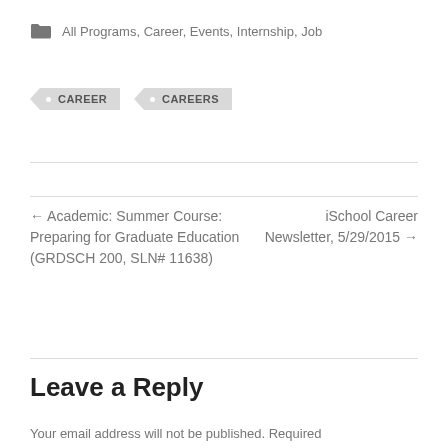All Programs, Career, Events, Internship, Job
CAREER    CAREERS
← Academic: Summer Course: Preparing for Graduate Education (GRDSCH 200, SLN# 11638)
iSchool Career Newsletter, 5/29/2015 →
Leave a Reply
Your email address will not be published. Required